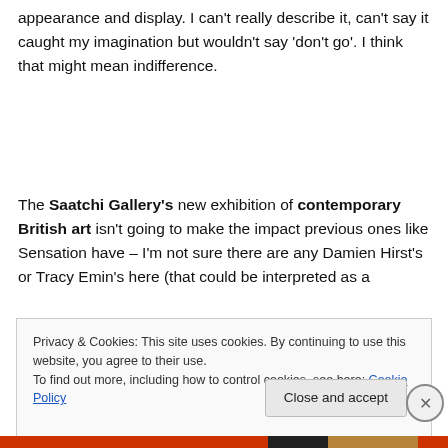appearance and display. I can't really describe it, can't say it caught my imagination but wouldn't say 'don't go'. I think that might mean indifference.
The Saatchi Gallery's new exhibition of contemporary British art isn't going to make the impact previous ones like Sensation have – I'm not sure there are any Damien Hirst's or Tracy Emin's here (that could be interpreted as a
Privacy & Cookies: This site uses cookies. By continuing to use this website, you agree to their use.
To find out more, including how to control cookies, see here: Cookie Policy